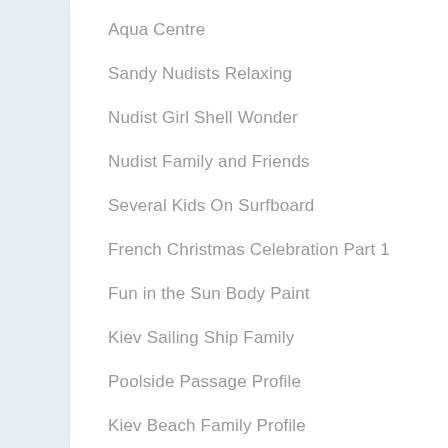Aqua Centre
Sandy Nudists Relaxing
Nudist Girl Shell Wonder
Nudist Family and Friends
Several Kids On Surfboard
French Christmas Celebration Part 1
Fun in the Sun Body Paint
Kiev Sailing Ship Family
Poolside Passage Profile
Kiev Beach Family Profile
Forest Front Arrow Family
Blue Stork Bodywork Girl